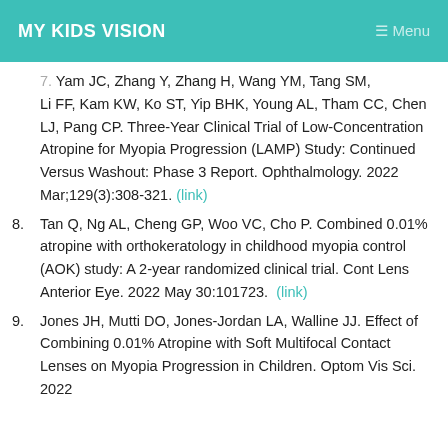MY KIDS VISION
Yam JC, Zhang Y, Zhang H, Wang YM, Tang SM, Li FF, Kam KW, Ko ST, Yip BHK, Young AL, Tham CC, Chen LJ, Pang CP. Three-Year Clinical Trial of Low-Concentration Atropine for Myopia Progression (LAMP) Study: Continued Versus Washout: Phase 3 Report. Ophthalmology. 2022 Mar;129(3):308-321. (link)
8. Tan Q, Ng AL, Cheng GP, Woo VC, Cho P. Combined 0.01% atropine with orthokeratology in childhood myopia control (AOK) study: A 2-year randomized clinical trial. Cont Lens Anterior Eye. 2022 May 30:101723. (link)
9. Jones JH, Mutti DO, Jones-Jordan LA, Walline JJ. Effect of Combining 0.01% Atropine with Soft Multifocal Contact Lenses on Myopia Progression in Children. Optom Vis Sci. 2022